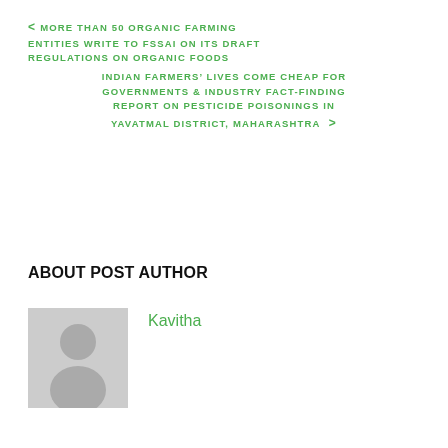< MORE THAN 50 ORGANIC FARMING ENTITIES WRITE TO FSSAI ON ITS DRAFT REGULATIONS ON ORGANIC FOODS
INDIAN FARMERS' LIVES COME CHEAP FOR GOVERNMENTS & INDUSTRY FACT-FINDING REPORT ON PESTICIDE POISONINGS IN YAVATMAL DISTRICT, MAHARASHTRA >
ABOUT POST AUTHOR
Kavitha